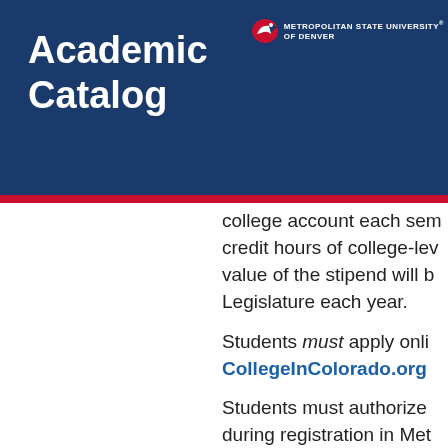Academic Catalog
[Figure (logo): Metropolitan State University of Denver logo with bird mascot and text]
college account each semester for each credit hours of college-level coursework. The value of the stipend will be determined by the Legislature each year.
Students must apply online at CollegeInColorado.org
Students must authorize use of the stipend during registration in Met
The COF application requires the student's name, date of birth, Social Security or Driver's License Number only on